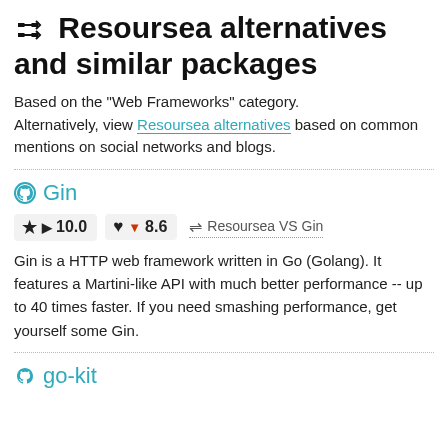⇄ Resoursea alternatives and similar packages
Based on the "Web Frameworks" category. Alternatively, view Resoursea alternatives based on common mentions on social networks and blogs.
Gin
★ ▶ 10.0   ♥ ▼ 8.6   ⇌ Resoursea VS Gin
Gin is a HTTP web framework written in Go (Golang). It features a Martini-like API with much better performance -- up to 40 times faster. If you need smashing performance, get yourself some Gin.
go-kit